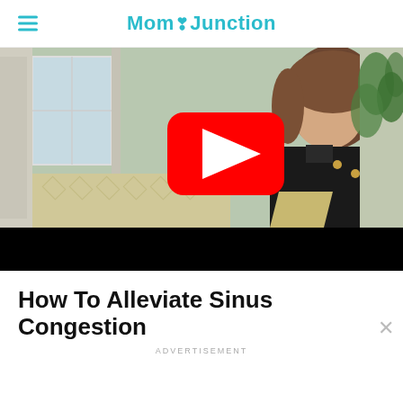MomJunction
[Figure (screenshot): YouTube video thumbnail showing a woman in a black top sitting on a sofa with a YouTube play button overlay. Video appears to be about alleviating sinus congestion.]
How To Alleviate Sinus Congestion
ADVERTISEMENT